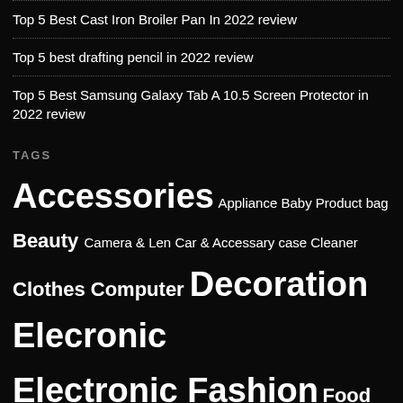Top 5 Best Cast Iron Broiler Pan In 2022 review
Top 5 best drafting pencil in 2022 review
Top 5 Best Samsung Galaxy Tab A 10.5 Screen Protector in 2022 review
TAGS
Accessories Appliance Baby Product bag Beauty Camera & Len Car & Accessary case Cleaner Clothes Computer Decoration Elecronic Electronic Fashion Food